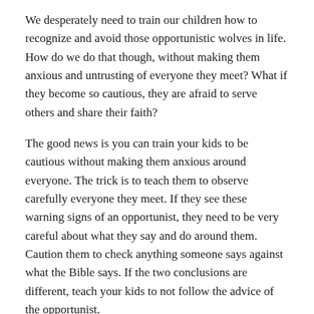We desperately need to train our children how to recognize and avoid those opportunistic wolves in life. How do we do that though, without making them anxious and untrusting of everyone they meet? What if they become so cautious, they are afraid to serve others and share their faith?
The good news is you can train your kids to be cautious without making them anxious around everyone. The trick is to teach them to observe carefully everyone they meet. If they see these warning signs of an opportunist, they need to be very careful about what they say and do around them. Caution them to check anything someone says against what the Bible says. If the two conclusions are different, teach your kids to not follow the advice of the opportunist.